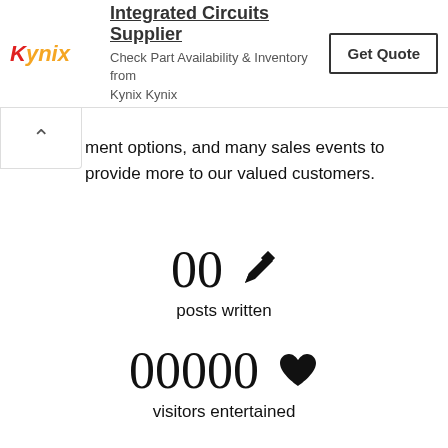[Figure (other): Kynix Integrated Circuits Supplier advertisement banner with Kynix logo, text 'Check Part Availability & Inventory from Kynix Kynix', and a 'Get Quote' button]
ment options, and many sales events to provide more to our valued customers.
00 ✏ posts written
00000 ♥ visitors entertained